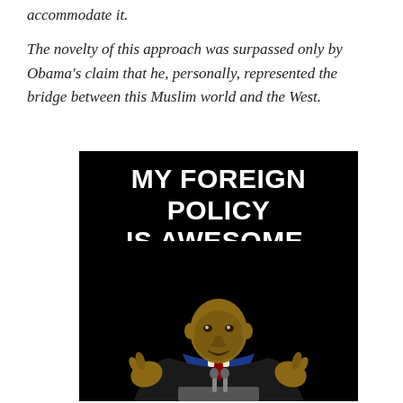accommodate it.
The novelty of this approach was surpassed only by Obama's claim that he, personally, represented the bridge between this Muslim world and the West.
[Figure (photo): A meme image with black background showing text 'MY FOREIGN POLICY IS AWESOME.' in large bold white letters above a photo of a man in academic regalia speaking at a podium with microphones.]